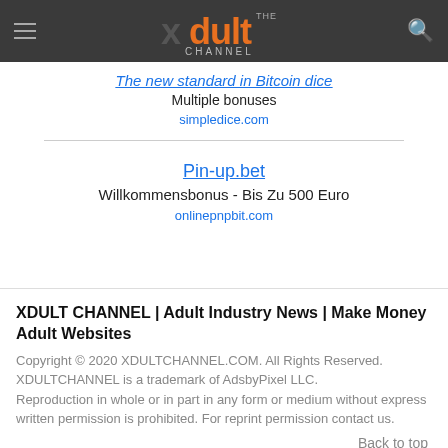xdult CHANNEL (logo header bar)
The new standard in Bitcoin dice
Multiple bonuses
simpledice.com
Pin-up.bet
Willkommensbonus - Bis Zu 500 Euro
onlinepnpbit.com
XDULT CHANNEL | Adult Industry News | Make Money Adult Websites
Copyright © 2020 XDULTCHANNEL.COM. All Rights Reserved. XDULTCHANNEL is a trademark of AdsbyPixel LLC. Reproduction in whole or in part in any form or medium without express written permission is prohibited. For reprint permission contact us.
Back to top